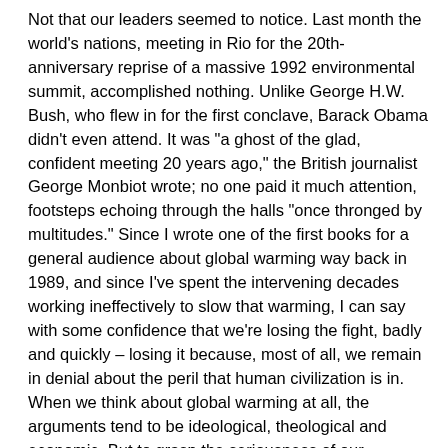Not that our leaders seemed to notice. Last month the world's nations, meeting in Rio for the 20th-anniversary reprise of a massive 1992 environmental summit, accomplished nothing. Unlike George H.W. Bush, who flew in for the first conclave, Barack Obama didn't even attend. It was "a ghost of the glad, confident meeting 20 years ago," the British journalist George Monbiot wrote; no one paid it much attention, footsteps echoing through the halls "once thronged by multitudes." Since I wrote one of the first books for a general audience about global warming way back in 1989, and since I've spent the intervening decades working ineffectively to slow that warming, I can say with some confidence that we're losing the fight, badly and quickly – losing it because, most of all, we remain in denial about the peril that human civilization is in. When we think about global warming at all, the arguments tend to be ideological, theological and economic. But to grasp the seriousness of our predicament, you just need to do a little math. For the past year, an easy and powerful bit of arithmetical analysis first published by financial analysts in the U.K. has been making the rounds of environmental conferences and journals, but it hasn't yet broken through to